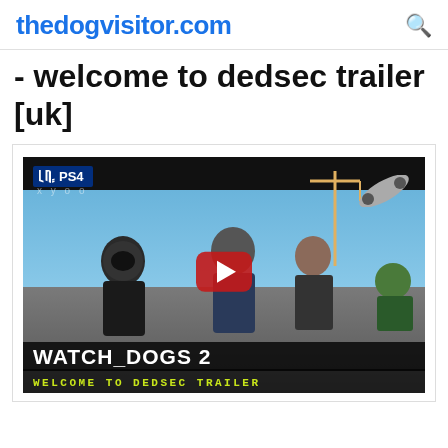thedogvisitor.com
- welcome to dedsec trailer [uk]
[Figure (screenshot): Watch Dogs 2 – Welcome to DedSec Trailer [UK] video thumbnail showing game characters in front of a cityscape with a PS4 logo badge, a YouTube-style red play button overlay, and text 'WATCH DOGS 2 / WELCOME TO DEDSEC TRAILER' at the bottom.]